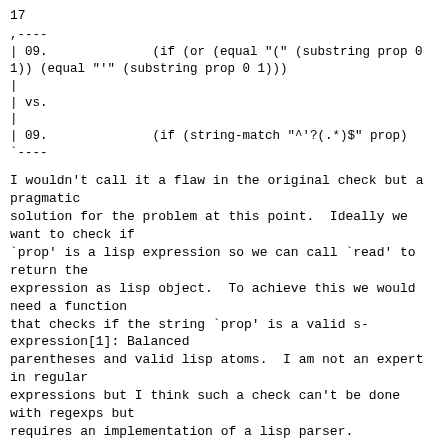17
,----
| 09.              (if (or (equal "(" (substring prop 0
1)) (equal "'" (substring prop 0 1)))
|
| vs.
|
| 09.              (if (string-match "^'?(.*)$" prop)
`----
I wouldn't call it a flaw in the original check but a pragmatic
solution for the problem at this point.  Ideally we want to check if
`prop' is a lisp expression so we can call `read' to return the
expression as lisp object.  To achieve this we would need a function
that checks if the string `prop' is a valid s-expression[1]: Balanced
parentheses and valid lisp atoms.  I am not an expert in regular
expressions but I think such a check can't be done with regexps but
requires an implementation of a lisp parser.
Example: (string-match "^'?(.*)$" "((foo baz)")) would return t but
"((foo baz)" is not a valid s-expression.